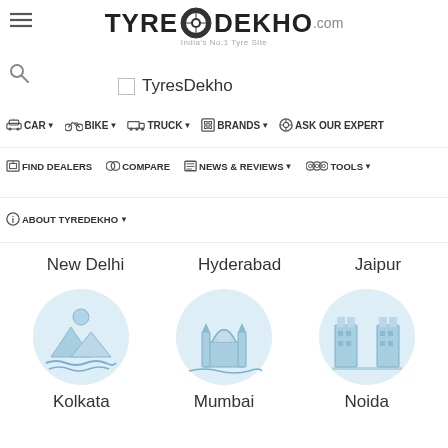[Figure (logo): TyreDekho.com logo — India's No.1 Tyre Site]
[Figure (other): Hamburger menu icon top-left]
[Figure (other): Search magnifier icon left]
TyresDekho (with checkbox)
CAR  BIKE  TRUCK  BRANDS  ASK OUR EXPERT
FIND DEALERS  COMPARE  NEWS & REVIEWS  TOOLS
ABOUT TYREDEKHO
New Delhi   Hyderabad   Jaipur
[Figure (illustration): Kolkata city illustration — circular badge with mountains and water]
[Figure (illustration): Mumbai city illustration — circular badge with Gateway of India]
[Figure (illustration): Noida city illustration — circular badge with towers/buildings]
Kolkata   Mumbai   Noida